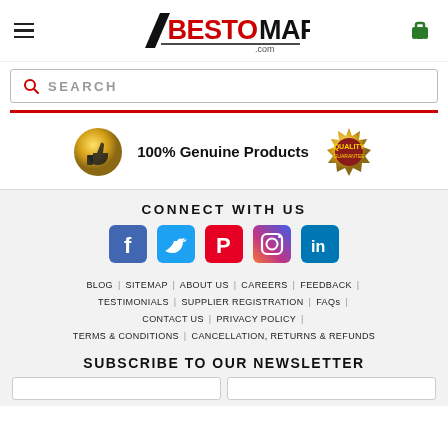[Figure (logo): BestoMart.com logo with hamburger menu and cart icon in header]
[Figure (other): Search bar with magnifying glass icon and SEARCH placeholder text]
[Figure (infographic): 100% Genuine Products banner with gold thumbs-up badge and quality guarantee seal]
CONNECT WITH US
[Figure (other): Social media icons: Facebook, Twitter, Pinterest, Instagram, LinkedIn]
BLOG | SITEMAP | ABOUT US | CAREERS | FEEDBACK | TESTIMONIALS | SUPPLIER REGISTRATION | FAQs | CONTACT US | PRIVACY POLICY | TERMS & CONDITIONS | CANCELLATION, RETURNS & REFUNDS
SUBSCRIBE TO OUR NEWSLETTER